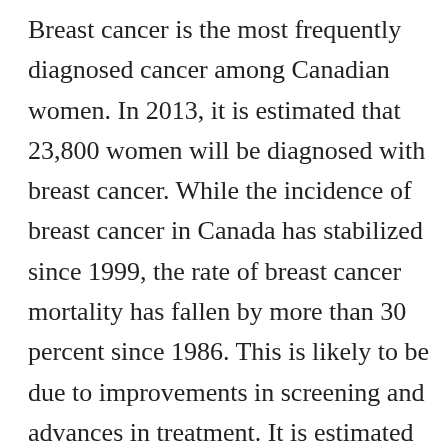Breast cancer is the most frequently diagnosed cancer among Canadian women. In 2013, it is estimated that 23,800 women will be diagnosed with breast cancer. While the incidence of breast cancer in Canada has stabilized since 1999, the rate of breast cancer mortality has fallen by more than 30 percent since 1986. This is likely to be due to improvements in screening and advances in treatment. It is estimated that in 2013 5,000 women will die of breast cancer. Ensuring the quality of mammography, both screening and diagnostic, is an important